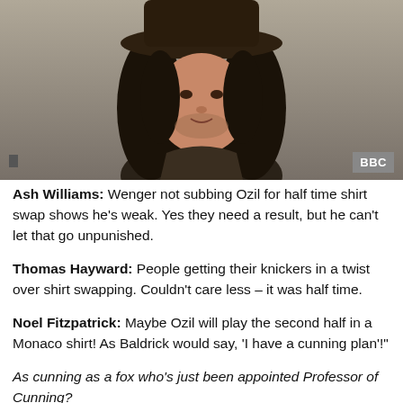[Figure (photo): Photo of a man dressed in dark medieval/rustic costume with a wide-brimmed hat and long dark hair, BBC watermark badge in bottom right corner]
Ash Williams: Wenger not subbing Ozil for half time shirt swap shows he's weak. Yes they need a result, but he can't let that go unpunished.
Thomas Hayward: People getting their knickers in a twist over shirt swapping. Couldn't care less – it was half time.
Noel Fitzpatrick: Maybe Ozil will play the second half in a Monaco shirt! As Baldrick would say, 'I have a cunning plan'!"
As cunning as a fox who's just been appointed Professor of Cunning?